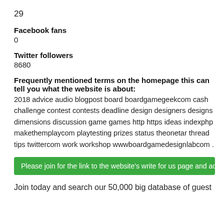29
Facebook fans
0
Twitter followers
8680
Frequently mentioned terms on the homepage this can tell you what the website is about:
2018 advice audio blogpost board boardgamegeekcom cash challenge contest contests deadline design designers designs dimensions discussion game games http https ideas indexphp makethemplaycom playtesting prizes status theonetar thread tips twittercom work workshop wwwboardgamedesignlabcom .
Please join for the link to the website's write for us page and access to
Join today and search our 50,000 big database of guest